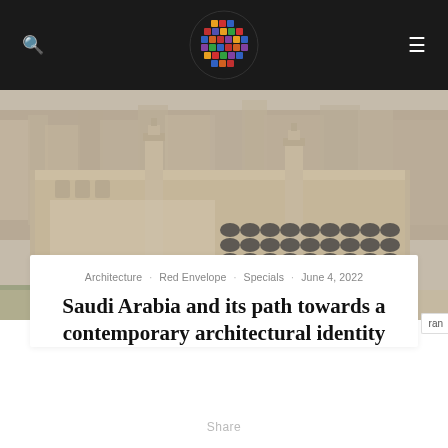🔍 [logo] ≡
[Figure (logo): Colorful mosaic globe logo made of multicolored puzzle-piece shapes in red, orange, yellow, blue, purple on dark background header]
[Figure (photo): Aerial photograph of a large Middle Eastern building complex, likely a mosque or government building in Saudi Arabia, with tan/sandstone architecture, visible minarets, and a flat roof area covered with dome-shaped objects, surrounded by city buildings]
Architecture · Red Envelope · Specials · June 4, 2022
Saudi Arabia and its path towards a contemporary architectural identity
Share